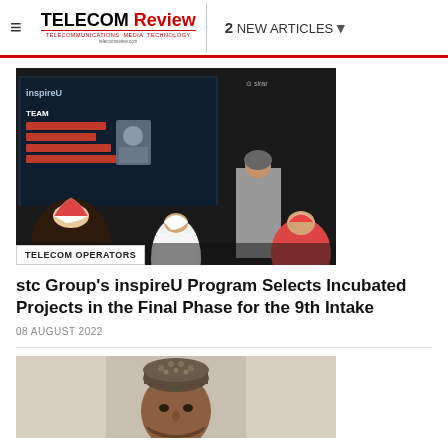≡  TELECOM Review  2 NEW ARTICLES
[Figure (photo): Photo of people in a meeting room with a large screen displaying 'inspireU TEAM' with project details. Several people wearing traditional Saudi attire are seated and standing.]
TELECOM OPERATORS
stc Group's inspireU Program Selects Incubated Projects in the Final Phase for the 9th Intake
08 AUGUST 2022
[Figure (photo): Partial photo of a person wearing traditional Omani attire (kumma hat), cropped at bottom of page.]